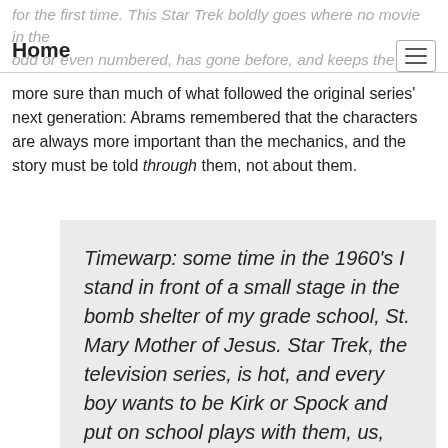Home
more sure than much of what followed the original series' next generation: Abrams remembered that the characters are always more important than the mechanics, and the story must be told through them, not about them.
Timewarp: some time in the 1960's I stand in front of a small stage in the bomb shelter of my grade school, St. Mary Mother of Jesus. Star Trek, the television series, is hot, and every boy wants to be Kirk or Spock and put on school plays with them, us, fighting vicious Klingons. For this school play I do not get to play Kirk or Spock. I get to play the Away Party sap of the week; the guy who gets phasered or blown up in the opening minutes of